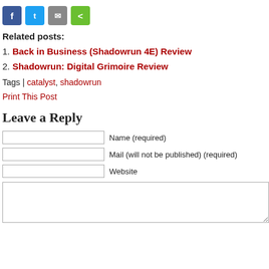[Figure (other): Social share buttons: Facebook (blue), Twitter (light blue), Mail (grey), Share (green)]
Related posts:
1. Back in Business (Shadowrun 4E) Review
2. Shadowrun: Digital Grimoire Review
Tags | catalyst, shadowrun
Print This Post
Leave a Reply
Name (required)
Mail (will not be published) (required)
Website